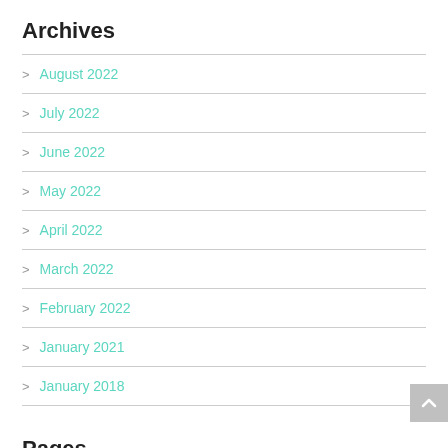Archives
August 2022
July 2022
June 2022
May 2022
April 2022
March 2022
February 2022
January 2021
January 2018
Pages
3 Best Tips for Packing Silage Piles
3 Important Tips When Buying Gym/Fitness Equipment Adelaide